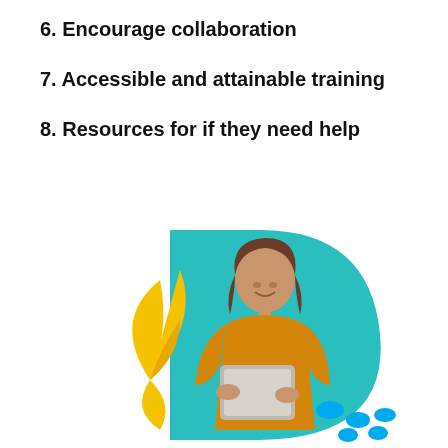6. Encourage collaboration
7. Accessible and attainable training
8. Resources for if they need help
[Figure (illustration): Decorative illustration with a teal rounded D-shape background, a yellow leaf/arrow motif on the left, a smiling young woman in a yellow sweater holding a tablet, and small blue oval dots in the lower right area.]